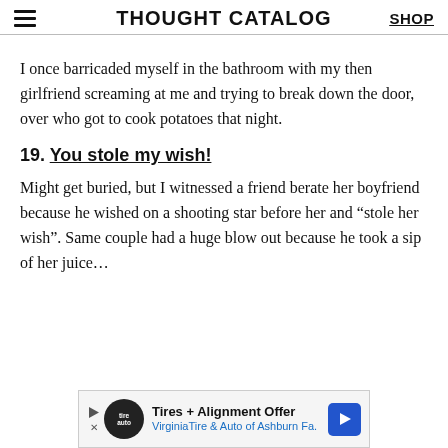THOUGHT CATALOG | SHOP
I once barricaded myself in the bathroom with my then girlfriend screaming at me and trying to break down the door, over who got to cook potatoes that night.
19. You stole my wish!
Might get buried, but I witnessed a friend berate her boyfriend because he wished on a shooting star before her and “stole her wish”. Same couple had a huge blow out because he took a sip of her juice…
[Figure (infographic): Advertisement banner for Tires + Alignment Offer from Virginia Tire & Auto of Ashburn Fa. with logo and blue arrow icon.]